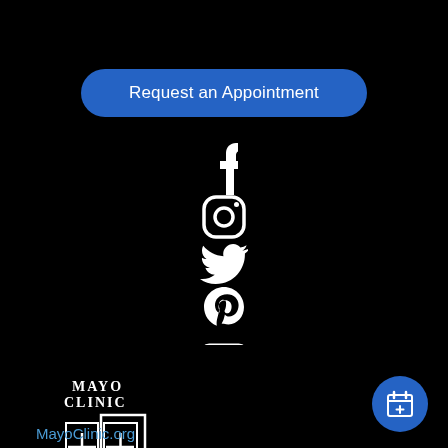Request an Appointment
[Figure (other): Social media icons row: Facebook, Instagram, Twitter, Pinterest, YouTube]
[Figure (logo): Mayo Clinic logo with shield emblem and text MAYO CLINIC]
MayoClinic.org
[Figure (other): Floating action button with calendar/appointment icon]